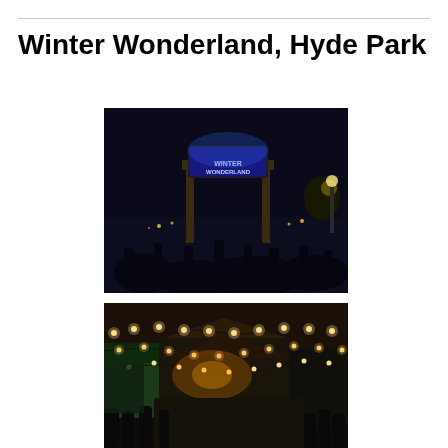Winter Wonderland, Hyde Park
[Figure (photo): Night-time photo of the Winter Wonderland entrance gate in Hyde Park, lit up with blue and white neon lights reading 'Winter Wonderland', with a crowd of people silhouetted in the foreground and distant lights in the background.]
[Figure (photo): Night-time photo of the Winter Wonderland fairground at Hyde Park, showing strings of warm white festoon lights draped over stalls and a tent structure, with crowds of visitors walking along a lit pathway.]